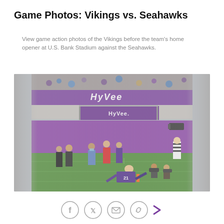Game Photos: Vikings vs. Seahawks
View game action photos of the Vikings before the team's home opener at U.S. Bank Stadium against the Seahawks.
[Figure (photo): NFL game action photo of a Vikings player (number 21) diving near the end zone pylon with photographers, staff, and fans visible near a purple Hy-Vee sponsored wall at U.S. Bank Stadium.]